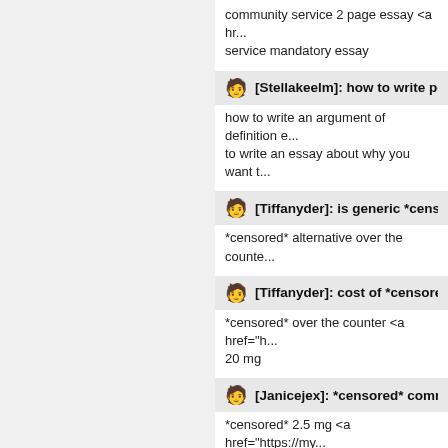community service 2 page essay <a hr... service mandatory essay
[Stellakeelm]: how to write perso...
how to write an argument of definition e... to write an essay about why you want t...
[Tiffanyder]: is generic *censore...
*censored* alternative over the counte...
[Tiffanyder]: cost of *censored*...
*censored* over the counter <a href="h... 20 mg
[Janicejex]: *censored* commer...
*censored* 2.5 mg <a href="https://my...
[Janicejex]: *censored* cheapes...